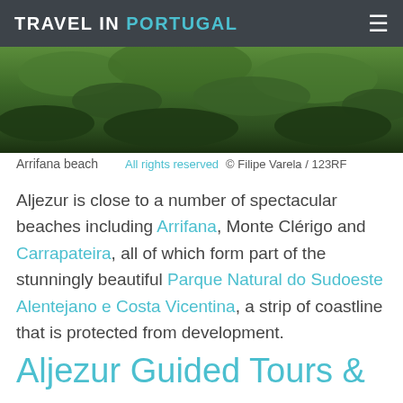TRAVEL IN PORTUGAL
[Figure (photo): Aerial view of lush green forest/vegetation, likely coastal landscape near Arrifana beach, Portugal]
Arrifana beach    All rights reserved  © Filipe Varela / 123RF
Aljezur is close to a number of spectacular beaches including Arrifana, Monte Clérigo and Carrapateira, all of which form part of the stunningly beautiful Parque Natural do Sudoeste Alentejano e Costa Vicentina, a strip of coastline that is protected from development.
Aljezur Guided Tours &